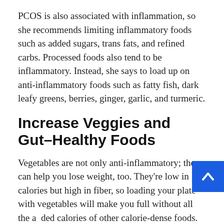PCOS is also associated with inflammation, so she recommends limiting inflammatory foods such as added sugars, trans fats, and refined carbs. Processed foods also tend to be inflammatory. Instead, she says to load up on anti-inflammatory foods such as fatty fish, dark leafy greens, berries, ginger, garlic, and turmeric.
Increase Veggies and Gut–Healthy Foods
Vegetables are not only anti-inflammatory; they can help you lose weight, too. They're low in calories but high in fiber, so loading your plate with vegetables will make you full without all the added calories of other calorie-dense foods. Veggies are also packed with micronutrients, vitamins, and